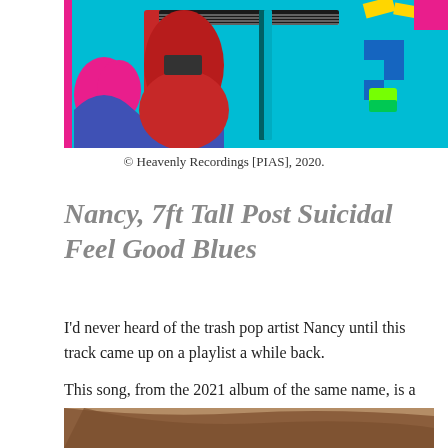[Figure (photo): Colorful pop art style image featuring electric guitars on a bright cyan/blue background with pink, purple and neon green graphic elements]
© Heavenly Recordings [PIAS], 2020.
Nancy, 7ft Tall Post Suicidal Feel Good Blues
I'd never heard of the trash pop artist Nancy until this track came up on a playlist a while back.
This song, from the 2021 album of the same name, is a woozy, synth-pop song which is both intriguing and enjoyable listening..despite the dubious title.
[Figure (photo): Partial photo of a person with brown hair, cropped at bottom of page]